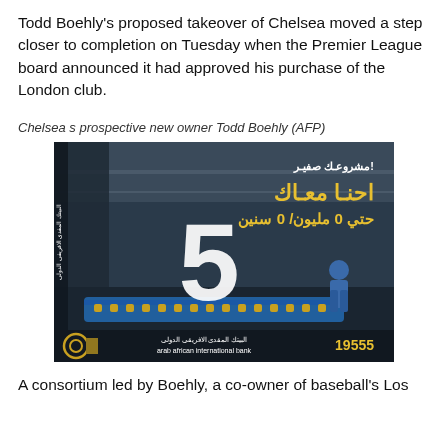Todd Boehly's proposed takeover of Chelsea moved a step closer to completion on Tuesday when the Premier League board announced it had approved his purchase of the London club.
Chelsea s prospective new owner Todd Boehly (AFP)
[Figure (photo): Advertisement for Arab African International Bank showing an industrial warehouse/factory scene with Arabic text and the number 5, with the bank logo and hotline number 19555 at the bottom.]
A consortium led by Boehly, a co-owner of baseball's Los